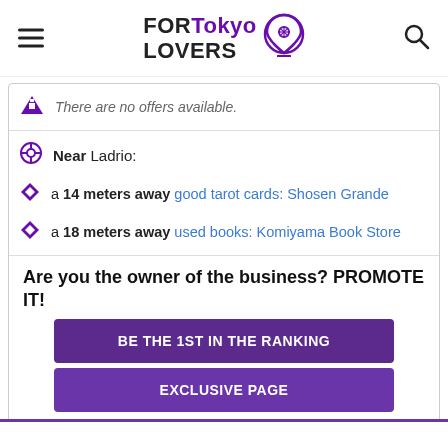FOR Tokyo LOVERS
There are no offers available.
Near Ladrio:
a 14 meters away good tarot cards: Shosen Grande
a 18 meters away used books: Komiyama Book Store
Are you the owner of the business? PROMOTE IT!
BE THE 1ST IN THE RANKING
EXCLUSIVE PAGE